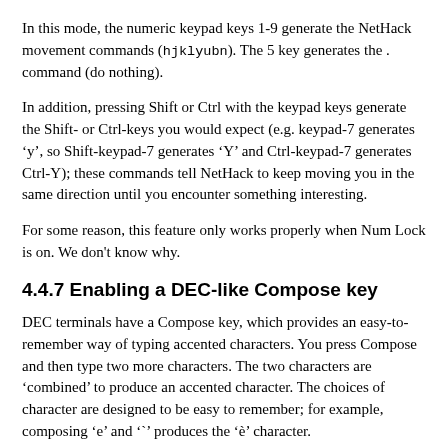In this mode, the numeric keypad keys 1-9 generate the NetHack movement commands (hjklyubn). The 5 key generates the . command (do nothing).
In addition, pressing Shift or Ctrl with the keypad keys generate the Shift- or Ctrl-keys you would expect (e.g. keypad-7 generates ‘y’, so Shift-keypad-7 generates ‘Y’ and Ctrl-keypad-7 generates Ctrl-Y); these commands tell NetHack to keep moving you in the same direction until you encounter something interesting.
For some reason, this feature only works properly when Num Lock is on. We don’t know why.
4.4.7 Enabling a DEC-like Compose key
DEC terminals have a Compose key, which provides an easy-to-remember way of typing accented characters. You press Compose and then type two more characters. The two characters are ‘combined’ to produce an accented character. The choices of character are designed to be easy to remember; for example, composing ‘e’ and ‘`’ produces the ‘è’ character.
If your keyboard has a Windows Application key, it acts as a Compose key in PuTTY. Alternatively, if you enable the ‘AltGr